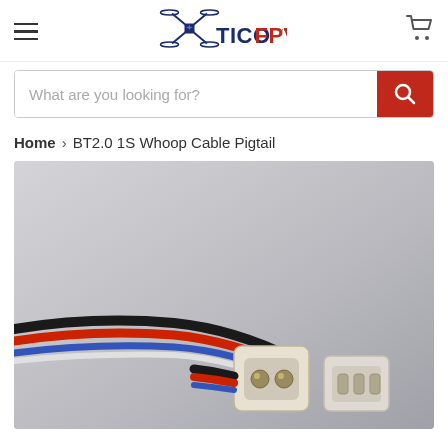TicoFPV navigation header with hamburger menu and cart icon
What are you looking for?
Home > BT2.0 1S Whoop Cable Pigtail
[Figure (photo): Close-up product photo of BT2.0 1S Whoop Cable Pigtail showing two white plastic connectors with colored wires (black, red, blue) on a light gray background]